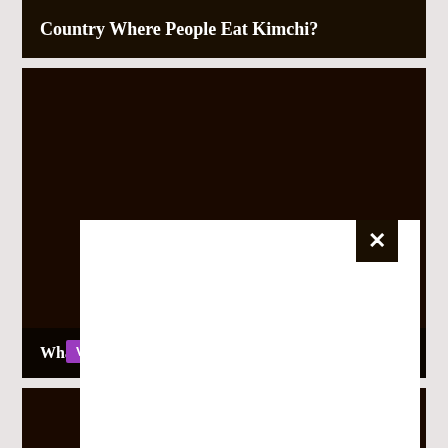Country Where People Eat Kimchi?
[Figure (screenshot): Dark thumbnail image card for a video or article about kimchi, with a partially visible center text and a purple 'Vege' tag label, and a white modal/popup overlaying the lower portion with a black close (X) button in the top-right corner of the modal. The bottom of the card shows a dark title bar with 'What K' text partially visible. Below is a row of two partially visible dark thumbnail cards.]
Vege
What K